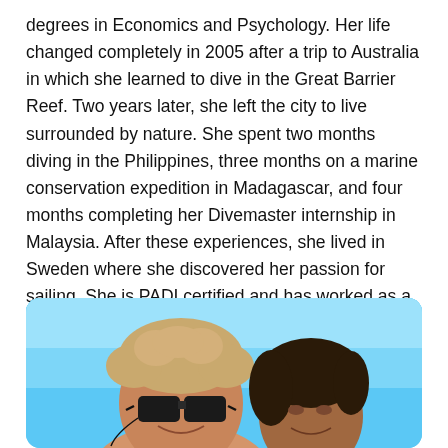degrees in Economics and Psychology. Her life changed completely in 2005 after a trip to Australia in which she learned to dive in the Great Barrier Reef. Two years later, she left the city to live surrounded by nature. She spent two months diving in the Philippines, three months on a marine conservation expedition in Madagascar, and four months completing her Divemaster internship in Malaysia. After these experiences, she lived in Sweden where she discovered her passion for sailing. She is PADI certified and has worked as a dive instructor in Thailand, Hawaii and Indonesia.
[Figure (photo): A man with curly blonde hair wearing dark sunglasses and a woman with dark hair, both smiling outdoors against a bright blue sky background, photographed as a close-up selfie.]